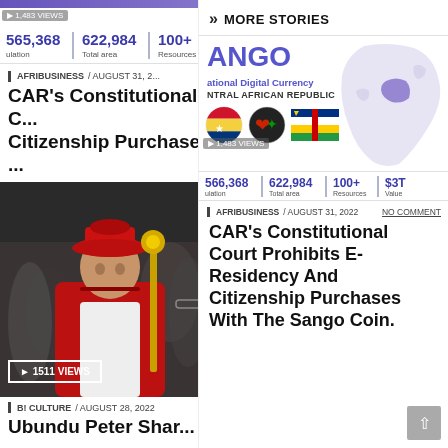565,368 population | 622,984 Total area | 100+ Resources | $3T Value
1,483 VIEWS
AFRIBUSINESS / AUGUST 31, 2...
CAR's Constitutional Court Prohibits E-Residency And Citizenship Purchases...
[Figure (photo): Man in red cardinal hat and robes at a ceremony, viewed from the side, with other people visible in the background. Shows 1511 VIEWS badge.]
BI CULTURE / AUGUST 28, 2022
Ubundu Peter Shar...
>> MORE STORIES
[Figure (infographic): SANGO - National Digital Currency of the Central African Republic infographic card showing country flags, a map of Africa highlighting CAR, stats (566,368 population, 622,984 Total area, 100+ Resources, $3T Value), and a 1,483 VIEWS badge.]
AFRIBUSINESS / AUGUST 31, 2022  NO COMMENT
CAR's Constitutional Court Prohibits E-Residency And Citizenship Purchases With The Sango Coin.